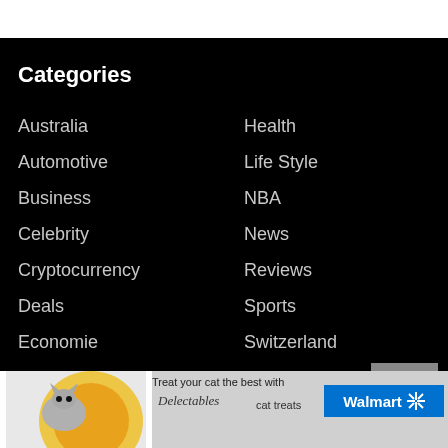Categories
Australia
Automotive
Business
Celebrity
Cryptocurrency
Deals
Economie
Education
Euro
Forex
Health
Life Style
NBA
News
Reviews
Sports
Switzerland
Trending
U.S.
CLOSE
[Figure (other): Walmart advertisement banner for Delectables cat treats with cat photo and Walmart logo]